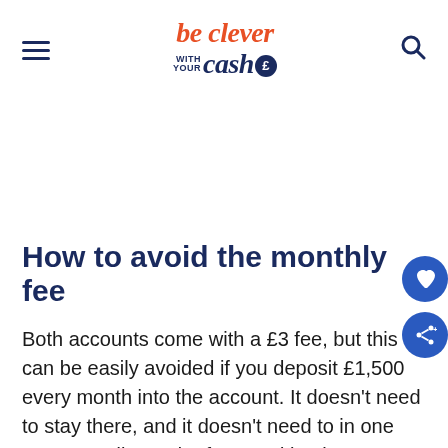be clever with your cash
How to avoid the monthly fee
Both accounts come with a £3 fee, but this can be easily avoided if you deposit £1,500 every month into the account. It doesn't need to stay there, and it doesn't need to in one go. A standing order from and back to